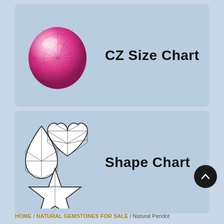[Figure (illustration): Banner with a pink cubic zirconia gemstone sphere illustration on the left and bold text 'CZ Size Chart' on the right, on a light blue background]
[Figure (illustration): Banner with line-art gemstone shape illustrations (teardrop, heart, star) on the left and bold text 'Shape Chart' on the right, on a light blue background]
HOME / NATURAL GEMSTONES FOR SALE / Natural Peridot